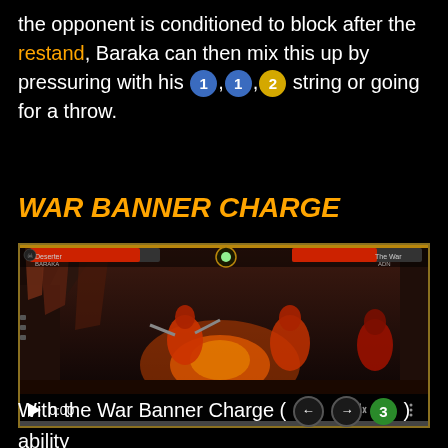the opponent is conditioned to block after the restand, Baraka can then mix this up by pressuring with his 1, 1, 2 string or going for a throw.
WAR BANNER CHARGE
[Figure (screenshot): Video player showing a Mortal Kombat 11 gameplay screenshot with two characters fighting in a dark arena setting. Controls bar at bottom shows play button, 0:00 timestamp, and media controls.]
With the War Banner Charge (← → 3) ability